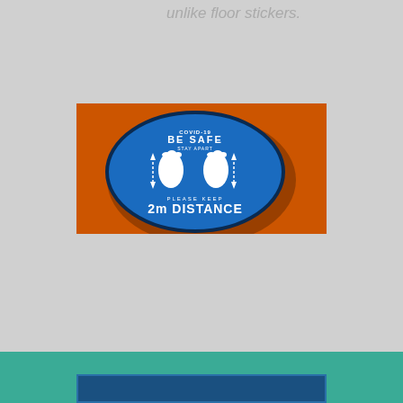unlike floor stickers.
[Figure (photo): A blue oval floor sticker on an orange background reading 'BE SAFE PLEASE KEEP 2m DISTANCE' with footprint icons and distance arrows]
[Figure (other): Teal/green footer bar with a dark blue framed element at the bottom of the page]